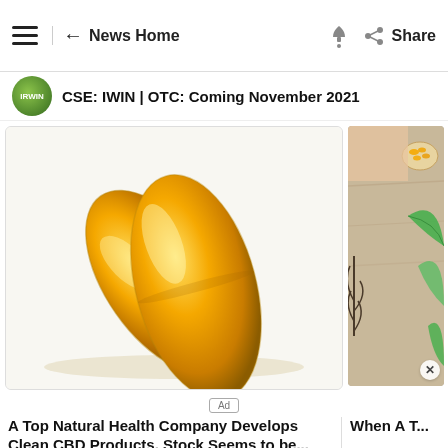≡  ← News Home  🔔  Share
CSE: IWIN | OTC: Coming November 2021
[Figure (photo): Two golden/amber gel capsules (supplement pills) photographed against a white background]
[Figure (photo): Partial side advertisement image showing herbs, green leaves, and a small bowl of capsules on a wooden surface]
Ad
A Top Natural Health Company Develops Clean CBD Products, Stock Seems to be...
When A T...